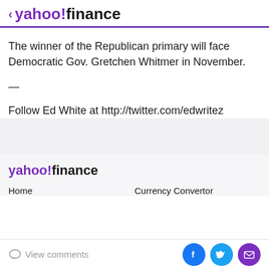yahoo!finance
The winner of the Republican primary will face Democratic Gov. Gretchen Whitmer in November.
—
Follow Ed White at http://twitter.com/edwritez
[Figure (logo): Yahoo Finance logo in footer]
Home    Currency Convertor
View comments  [Facebook] [Twitter] [Email]